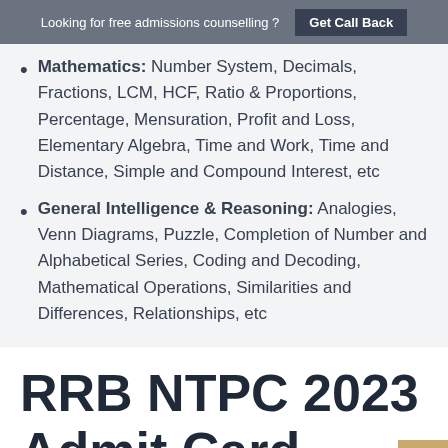Looking for free admissions counselling ? Get Call Back
Mathematics: Number System, Decimals, Fractions, LCM, HCF, Ratio & Proportions, Percentage, Mensuration, Profit and Loss, Elementary Algebra, Time and Work, Time and Distance, Simple and Compound Interest, etc
General Intelligence & Reasoning: Analogies, Venn Diagrams, Puzzle, Completion of Number and Alphabetical Series, Coding and Decoding, Mathematical Operations, Similarities and Differences, Relationships, etc
RRB NTPC 2023 Admit Card